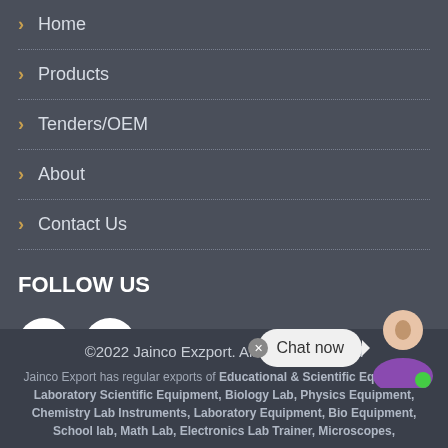Home
Products
Tenders/OEM
About
Contact Us
FOLLOW US
[Figure (illustration): Facebook and Twitter social media icons as white circles with logos]
©2022 Jainco Exzport. All Right Reserved
Jainco Export has regular exports of Educational & Scientific Equipment, Laboratory Scientific Equipment, Biology Lab, Physics Equipment, Chemistry Lab Instruments, Laboratory Equipment, Bio Equipment, School lab, Math Lab, Electronics Lab Trainer, Microscopes,